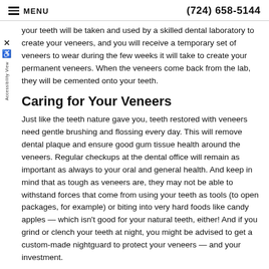MENU | (724) 658-5144
your teeth will be taken and used by a skilled dental laboratory to create your veneers, and you will receive a temporary set of veneers to wear during the few weeks it will take to create your permanent veneers. When the veneers come back from the lab, they will be cemented onto your teeth.
Caring for Your Veneers
Just like the teeth nature gave you, teeth restored with veneers need gentle brushing and flossing every day. This will remove dental plaque and ensure good gum tissue health around the veneers. Regular checkups at the dental office will remain as important as always to your oral and general health. And keep in mind that as tough as veneers are, they may not be able to withstand forces that come from using your teeth as tools (to open packages, for example) or biting into very hard foods like candy apples — which isn't good for your natural teeth, either! And if you grind or clench your teeth at night, you might be advised to get a custom-made nightguard to protect your veneers — and your investment.
Related Articles